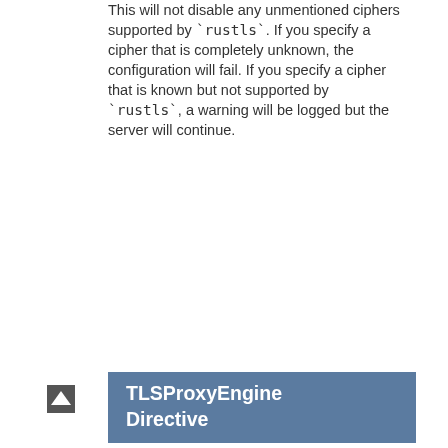This will not disable any unmentioned ciphers supported by `rustls`. If you specify a cipher that is completely unknown, the configuration will fail. If you specify a cipher that is known but not supported by `rustls`, a warning will be logged but the server will continue.
TLSProxyEngine Directive
| Field | Value |
| --- | --- |
| Description: | enables TLS for backend connections. |
| Syntax: | TLSProxyEngine on|off |
| Context: | server config, virtual host, proxy section |
| Status: | Experimental |
| Module: | mod_tls |